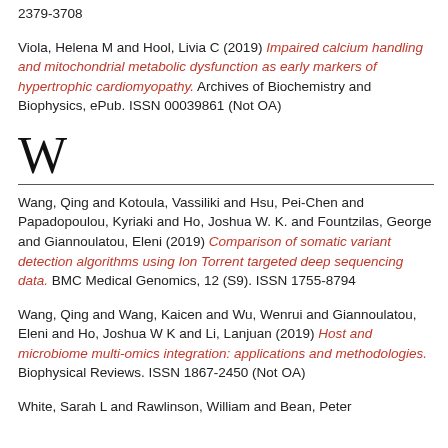2379-3708

Viola, Helena M and Hool, Livia C (2019) Impaired calcium handling and mitochondrial metabolic dysfunction as early markers of hypertrophic cardiomyopathy. Archives of Biochemistry and Biophysics, ePub. ISSN 00039861 (Not OA)
W
Wang, Qing and Kotoula, Vassiliki and Hsu, Pei-Chen and Papadopoulou, Kyriaki and Ho, Joshua W. K. and Fountzilas, George and Giannoulatou, Eleni (2019) Comparison of somatic variant detection algorithms using Ion Torrent targeted deep sequencing data. BMC Medical Genomics, 12 (S9). ISSN 1755-8794
Wang, Qing and Wang, Kaicen and Wu, Wenrui and Giannoulatou, Eleni and Ho, Joshua W K and Li, Lanjuan (2019) Host and microbiome multi-omics integration: applications and methodologies. Biophysical Reviews. ISSN 1867-2450 (Not OA)
White, Sarah L and Rawlinson, William and Bean, Peter...